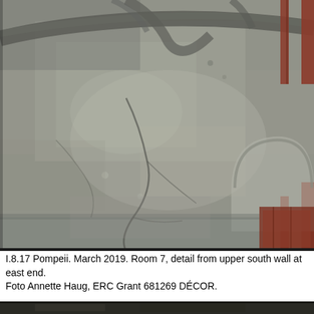[Figure (photo): Close-up photograph of an ancient Roman fresco from Pompeii showing a deteriorated wall painting with grey and beige tones, visible cracks, painted architectural elements including reddish-brown vertical stripes and an arched niche on the right side, and painted tree branches at the top. The fresco shows significant weathering and damage.]
I.8.17 Pompeii. March 2019. Room 7, detail from upper south wall at east end.
Foto Annette Haug, ERC Grant 681269 DÉCOR.
[Figure (photo): Partial view of another photograph at the bottom of the page, mostly cropped.]